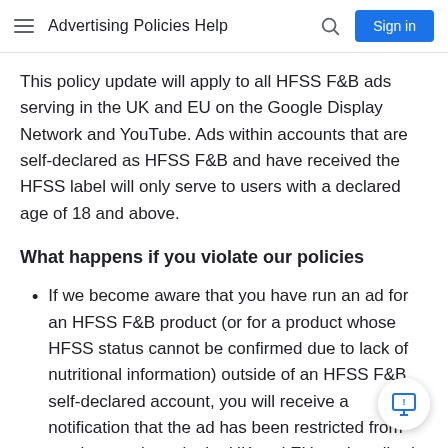Advertising Policies Help
This policy update will apply to all HFSS F&B ads serving in the UK and EU on the Google Display Network and YouTube. Ads within accounts that are self-declared as HFSS F&B and have received the HFSS label will only serve to users with a declared age of 18 and above.
What happens if you violate our policies
If we become aware that you have run an ad for an HFSS F&B product (or for a product whose HFSS status cannot be confirmed due to lack of nutritional information) outside of an HFSS F&B self-declared account, you will receive a notification that the ad has been restricted from serving to minors in the UK and EU as described above. If you would like to appeal the